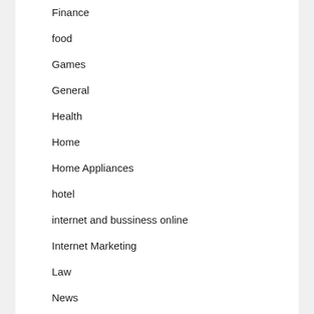Finance
food
Games
General
Health
Home
Home Appliances
hotel
internet and bussiness online
Internet Marketing
Law
News
Photography